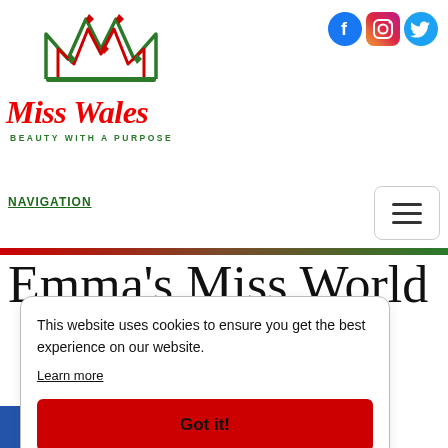[Figure (logo): Miss Wales logo with crown, red italic text 'Miss Wales' and green tagline 'BEAUTY WITH A PURPOSE']
[Figure (infographic): Social media icons: Facebook (blue circle with f), Instagram (gradient square with camera), Twitter (blue circle with bird)]
NAVIGATION
[Figure (infographic): Hamburger menu button - three horizontal lines in a rounded rectangle]
Emma's Miss World
This website uses cookies to ensure you get the best experience on our website. Learn more
Got it!